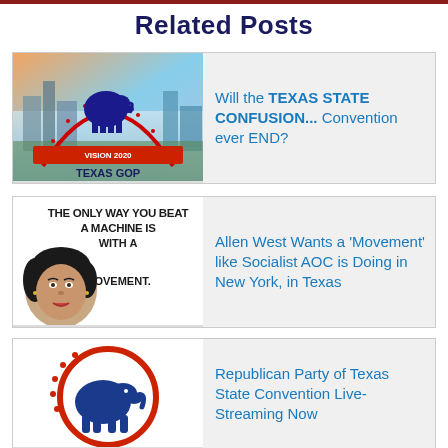Related Posts
[Figure (illustration): Texas GOP Vision 2020 logo with elephant on city background]
Will the TEXAS STATE CONFUSION... Convention ever END?
[Figure (illustration): The only way you beat a machine is with a movement. Text with AOC illustration]
Allen West Wants a 'Movement' like Socialist AOC is Doing in New York, in Texas
[Figure (illustration): Republican Party of Texas elephant logo in red circle]
Republican Party of Texas State Convention Live-Streaming Now